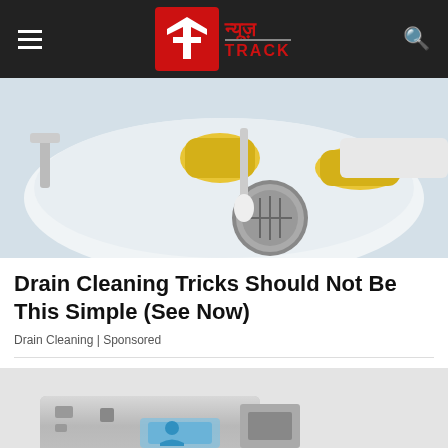न्यूज़ TRACK - Navigation bar with hamburger menu, logo, and search icon
[Figure (photo): Hands in yellow rubber gloves cleaning a kitchen sink drain with a brush, removing the drain strainer over a white sink]
Drain Cleaning Tricks Should Not Be This Simple (See Now)
Drain Cleaning | Sponsored
[Figure (photo): Close-up of a USB flash drive with blue LED light on a light grey background]